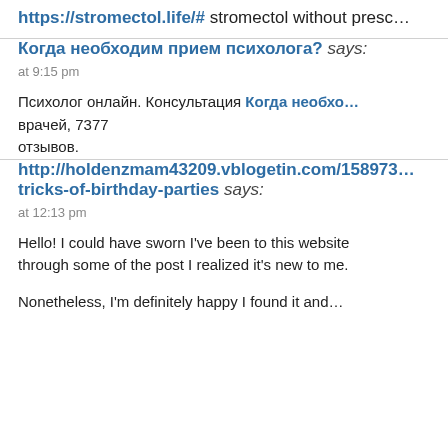https://stromectol.life/# stromectol without presc…
Когда необходим прием психолога? says:
at 9:15 pm
Психолог онлайн. Консультация Когда необхо… врачей, 7377 отзывов.
http://holdenzmam43209.vblogetin.com/158973…tricks-of-birthday-parties says:
at 12:13 pm
Hello! I could have sworn I've been to this website through some of the post I realized it's new to me.
Nonetheless, I'm definitely happy I found it and…